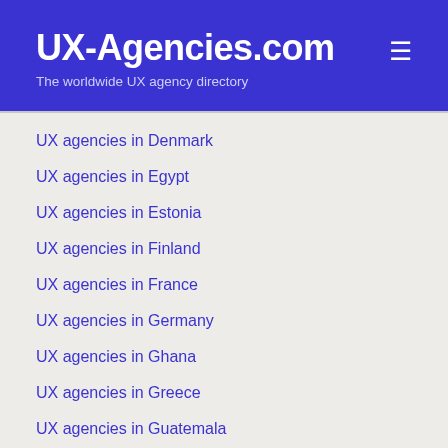UX-Agencies.com
The worldwide UX agency directory
UX agencies in Denmark
UX agencies in Egypt
UX agencies in Estonia
UX agencies in Finland
UX agencies in France
UX agencies in Germany
UX agencies in Ghana
UX agencies in Greece
UX agencies in Guatemala
UX agencies in Hong Kong
UX agencies in Hungary